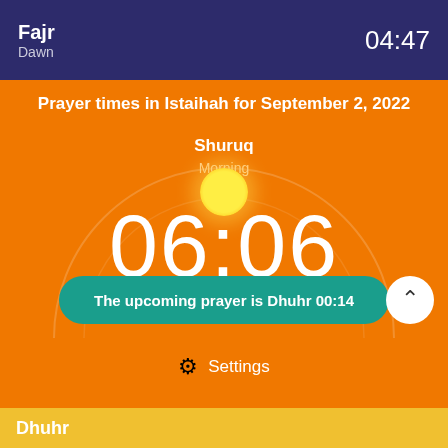Fajr  Dawn  04:47
Prayer times in Istaihah for September 2, 2022
Shuruq
Morning
06:06
The upcoming prayer is Dhuhr 00:14
Settings
Dhuhr